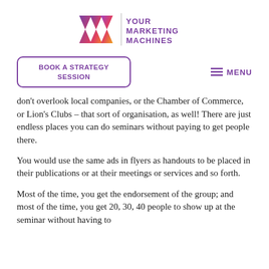[Figure (logo): Your Marketing Machines logo — stylized YMM letters in purple/red/orange gradient with text 'YOUR MARKETING MACHINES' in purple to the right]
BOOK A STRATEGY SESSION
MENU
don't overlook local companies, or the Chamber of Commerce, or Lion's Clubs – that sort of organisation, as well! There are just endless places you can do seminars without paying to get people there.
You would use the same ads in flyers as handouts to be placed in their publications or at their meetings or services and so forth.
Most of the time, you get the endorsement of the group; and most of the time, you get 20, 30, 40 people to show up at the seminar without having to